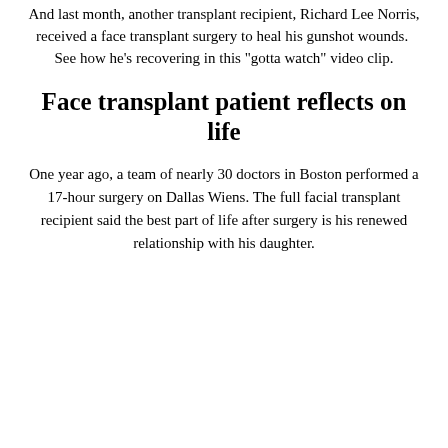And last month, another transplant recipient, Richard Lee Norris, received a face transplant surgery to heal his gunshot wounds. See how he's recovering in this "gotta watch" video clip.
Face transplant patient reflects on life
One year ago, a team of nearly 30 doctors in Boston performed a 17-hour surgery on Dallas Wiens. The full facial transplant recipient said the best part of life after surgery is his renewed relationship with his daughter.